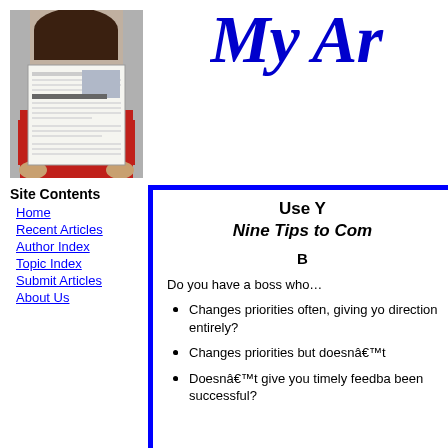[Figure (photo): Person holding up a newspaper/article in front of their face, wearing red clothing]
My Ar
Site Contents
Home
Recent Articles
Author Index
Topic Index
Submit Articles
About Us
Use Y
Nine Tips to Com
B
Do you have a boss who…
Changes priorities often, giving yo direction entirely?
Changes priorities but doesnâ€™t
Doesnâ€™t give you timely feedba been successful?